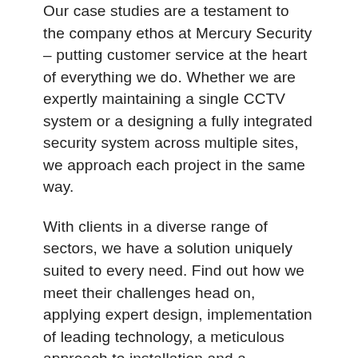Our case studies are a testament to the company ethos at Mercury Security – putting customer service at the heart of everything we do. Whether we are expertly maintaining a single CCTV system or a designing a fully integrated security system across multiple sites,  we approach each project in the same way.
With clients in a diverse range of sectors, we have a solution uniquely suited to every need. Find out how we meet their challenges head on, applying expert design, implementation of leading technology, a meticulous approach to installation and a commitment to the highest levels of customer care.
High profile education centre: Delivering the highest levels of